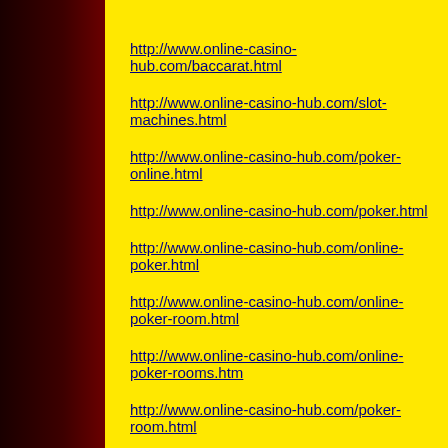http://www.online-casino-hub.com/baccarat.html
http://www.online-casino-hub.com/slot-machines.html
http://www.online-casino-hub.com/poker-online.html
http://www.online-casino-hub.com/poker.html
http://www.online-casino-hub.com/online-poker.html
http://www.online-casino-hub.com/online-poker-room.html
http://www.online-casino-hub.com/online-poker-rooms.htm
http://www.online-casino-hub.com/poker-room.html
http://www.online-casino-hub.com/poker-rooms.html